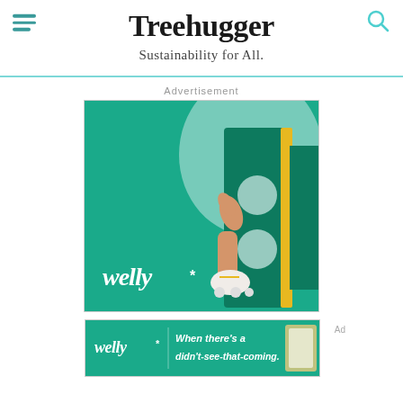Treehugger — Sustainability for All.
Advertisement
[Figure (photo): Welly brand advertisement showing a person's leg wearing a white roller skate emerging from behind teal geometric panels with a yellow vertical stripe. The Welly logo with asterisk is shown in white in the lower left.]
[Figure (photo): Welly banner ad with teal background, Welly logo with asterisk on left, text reading 'When there’s a didn’t-see-that-coming.' in bold italic white text, and product image on the right.]